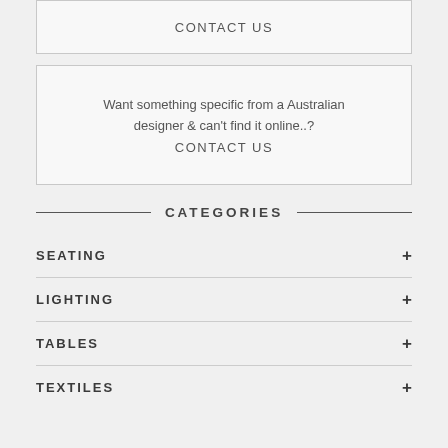CONTACT US
Want something specific from a Australian designer & can't find it online..?
CONTACT US
CATEGORIES
SEATING +
LIGHTING +
TABLES +
TEXTILES +